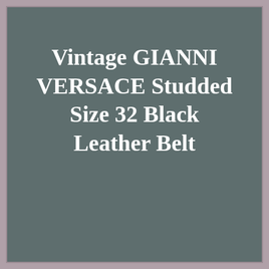Vintage GIANNI VERSACE Studded Size 32 Black Leather Belt